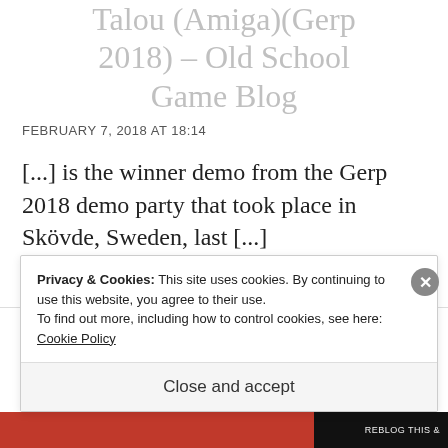Talou (Amiga)(Gerp 2018) – Old School Game Blog
FEBRUARY 7, 2018 AT 18:14
[...] is the winner demo from the Gerp 2018 demo party that took place in Skövde, Sweden, last [...]
★ Like
REPLY
Privacy & Cookies: This site uses cookies. By continuing to use this website, you agree to their use.
To find out more, including how to control cookies, see here: Cookie Policy
Close and accept